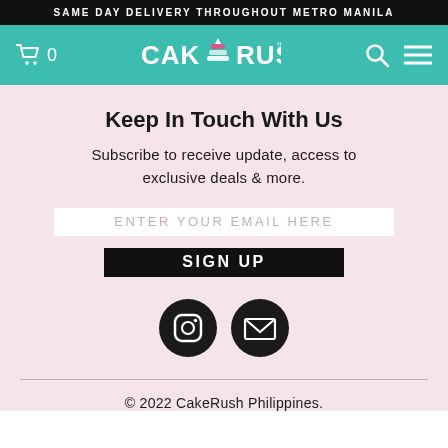SAME DAY DELIVERY THROUGHOUT METRO MANILA
[Figure (logo): CakeRush logo with teal navigation bar, cart icon with 0, search icon, and hamburger menu]
Keep In Touch With Us
Subscribe to receive update, access to exclusive deals & more.
ENTER YOUR EMAIL HERE
SIGN UP
[Figure (illustration): Instagram icon and email/envelope icon as circular black buttons]
© 2022 CakeRush Philippines.